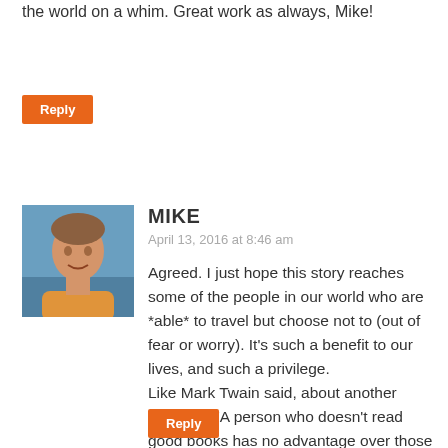the world on a whim. Great work as always, Mike!
Reply
MIKE
April 13, 2016 at 8:46 am
[Figure (photo): Profile photo of a young man at the seaside]
Agreed. I just hope this story reaches some of the people in our world who are *able* to travel but choose not to (out of fear or worry). It’s such a benefit to our lives, and such a privilege.
Like Mark Twain said, about another privilege: “A person who doesn’t read good books has no advantage over those who can’t read them.”
Reply